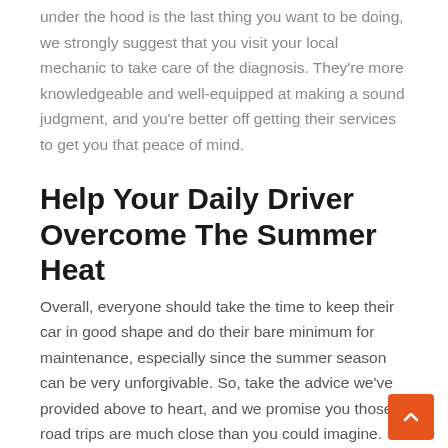under the hood is the last thing you want to be doing, we strongly suggest that you visit your local mechanic to take care of the diagnosis. They're more knowledgeable and well-equipped at making a sound judgment, and you're better off getting their services to get you that peace of mind.
Help Your Daily Driver Overcome The Summer Heat
Overall, everyone should take the time to keep their car in good shape and do their bare minimum for maintenance, especially since the summer season can be very unforgivable. So, take the advice we've provided above to heart, and we promise you those road trips are much close than you could imagine.